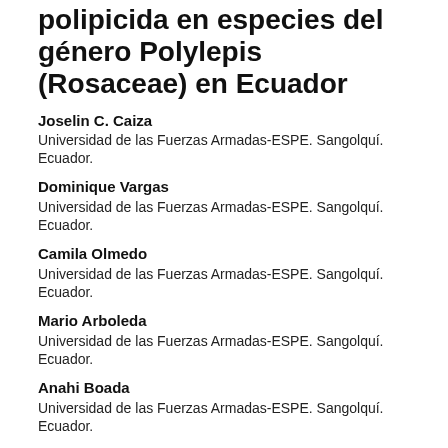polipicida en especies del género Polylepis (Rosaceae) en Ecuador
Joselin C. Caiza
Universidad de las Fuerzas Armadas-ESPE. Sangolquí. Ecuador.
Dominique Vargas
Universidad de las Fuerzas Armadas-ESPE. Sangolquí. Ecuador.
Camila Olmedo
Universidad de las Fuerzas Armadas-ESPE. Sangolquí. Ecuador.
Mario Arboleda
Universidad de las Fuerzas Armadas-ESPE. Sangolquí. Ecuador.
Anahi Boada
Universidad de las Fuerzas Armadas-ESPE. Sangolquí. Ecuador.
Osmar Acurio
Universidad de las Fuerzas Armadas-ESPE. Sangolquí. Ecuador.
Alexis Debut
Universidad de las Fuerzas Armadas-ESPE. Sangolquí. Ecuador.
María C. Segovia-Salcedo